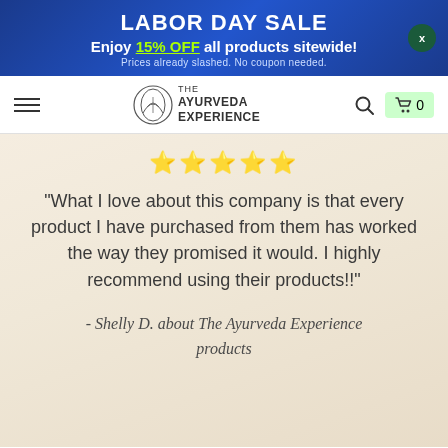LABOR DAY SALE - Enjoy 15% OFF all products sitewide! Prices already slashed. No coupon needed.
[Figure (logo): The Ayurveda Experience logo with leaf/mountain emblem and text]
★★★★★
"What I love about this company is that every product I have purchased from them has worked the way they promised it would. I highly recommend using their products!!"
- Shelly D. about The Ayurveda Experience products